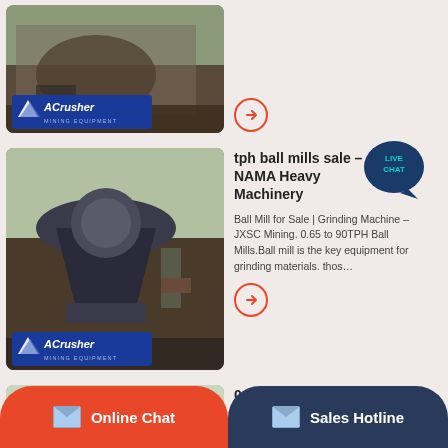[Figure (photo): Mining equipment photo with ACrusher Mining Equipment logo overlay (top card, partial)]
[Figure (photo): Cone crusher machinery photo with ACrusher Mining Equipment logo overlay - tph ball mills sale card]
tph ball mills sale – NAMA Heavy Machinery
Ball Mill for Sale | Grinding Machine – JXSC Mining. 0.65 to 90TPH Ball Mills.Ball mill is the key equipment for grinding materials. thos…
[Figure (photo): Quarry/mining site aerial view with ACrusher Mining Equipment logo overlay - 0.5 to 50 TPH Industrial Ball Mills card]
0.5 to 50 TPH Industrial Ball Mills – 911Metallurgist
0.5 to 50 TPH Industrial Ball Mills. … The tube and compartment ball mills commonly used in the cement industry have L/D ratios 2.75:1 o…
Online Chat
Sales Hotline